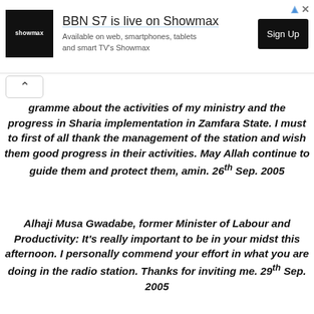[Figure (infographic): Showmax advertisement banner with logo, text 'BBN S7 is live on Showmax', subtitle 'Available on web, smartphones, tablets and smart TV's Showmax', and Sign Up button]
gramme about the activities of my ministry and the progress in Sharia implementation in Zamfara State. I must to first of all thank the management of the station and wish them good progress in their activities. May Allah continue to guide them and protect them, amin. 26th Sep. 2005
Alhaji Musa Gwadabe, former Minister of Labour and Productivity: It's really important to be in your midst this afternoon. I personally commend your effort in what you are doing in the radio station. Thanks for inviting me. 29th Sep. 2005